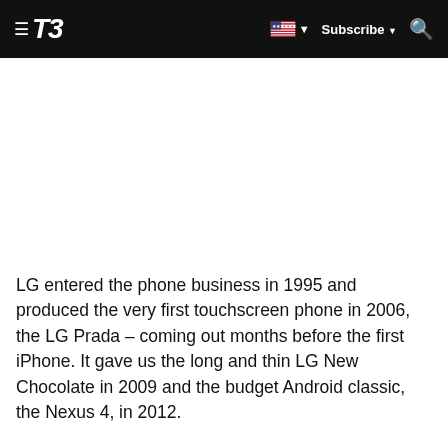T3 — Subscribe
LG entered the phone business in 1995 and produced the very first touchscreen phone in 2006, the LG Prada – coming out months before the first iPhone. It gave us the long and thin LG New Chocolate in 2009 and the budget Android classic, the Nexus 4, in 2012.
More recently LG had a resurgence of innovative models that